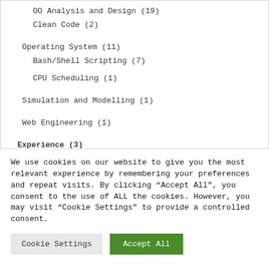OO Analysis and Design (19)
Clean Code (2)
Operating System (11)
Bash/Shell Scripting (7)
CPU Scheduling (1)
Simulation and Modelling (1)
Web Engineering (1)
Experience (3)
Events (1)
We use cookies on our website to give you the most relevant experience by remembering your preferences and repeat visits. By clicking “Accept All”, you consent to the use of ALL the cookies. However, you may visit “Cookie Settings” to provide a controlled consent.
Cookie Settings | Accept All